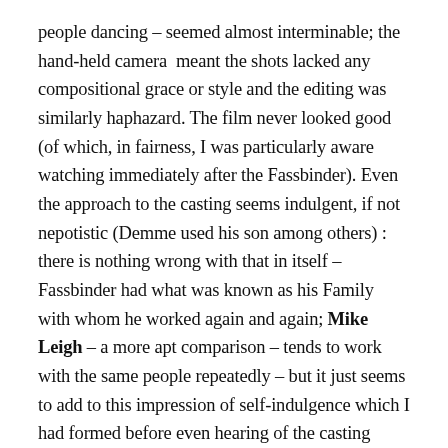people dancing – seemed almost interminable; the hand-held camera meant the shots lacked any compositional grace or style and the editing was similarly haphazard. The film never looked good (of which, in fairness, I was particularly aware watching immediately after the Fassbinder). Even the approach to the casting seems indulgent, if not nepotistic (Demme used his son among others) : there is nothing wrong with that in itself – Fassbinder had what was known as his Family with whom he worked again and again; Mike Leigh – a more apt comparison – tends to work with the same people repeatedly – but it just seems to add to this impression of self-indulgence which I had formed before even hearing of the casting policy. Of course all the foregoing would probably not matter if I were more convinced by the